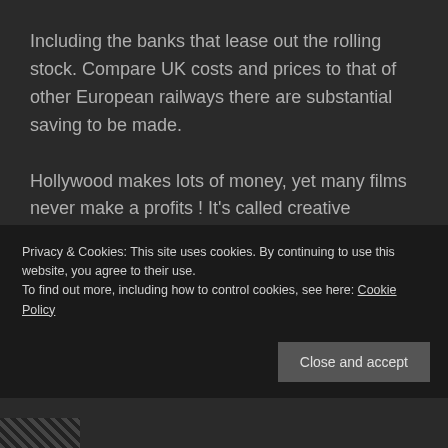Including the banks that lease out the rolling stock. Compare UK costs and prices to that of other European railways there are substantial saving to be made.
Hollywood makes lots of money, yet many films never make a profits ! It's called creative accounting and tax management.
Privacy & Cookies: This site uses cookies. By continuing to use this website, you agree to their use.
To find out more, including how to control cookies, see here: Cookie Policy